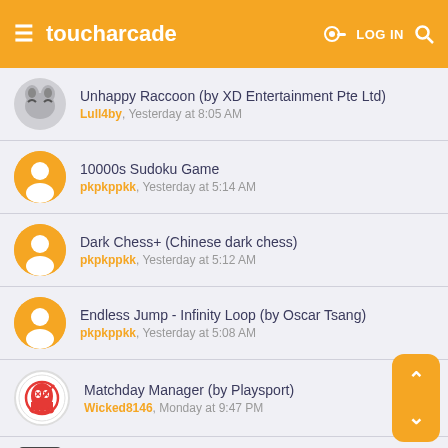toucharcade — LOG IN
Unhappy Raccoon (by XD Entertainment Pte Ltd)
Lull4by, Yesterday at 8:05 AM
10000s Sudoku Game
pkpkppkk, Yesterday at 5:14 AM
Dark Chess+ (Chinese dark chess)
pkpkppkk, Yesterday at 5:12 AM
Endless Jump - Infinity Loop (by Oscar Tsang)
pkpkppkk, Yesterday at 5:08 AM
Matchday Manager (by Playsport)
Wicked8146, Monday at 9:47 PM
Survivor!.io (HABBY)
Boardumb, Monday at 6:55 PM